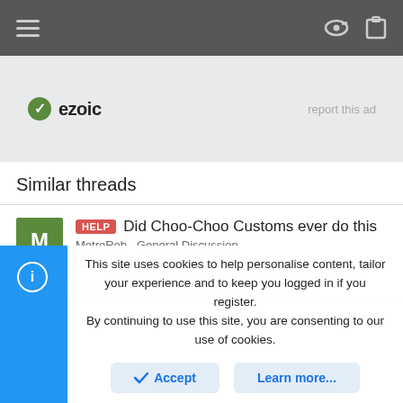Navigation bar with hamburger menu and icons
[Figure (logo): Ezoic logo with green circular checkmark icon and text 'ezoic', with 'report this ad' text to the right]
Similar threads
HELP Did Choo-Choo Customs ever do this
MetroRob · General Discussion
 13 ·
 airboatgreg replied May 25, 2022 · General Discussion
This site uses cookies to help personalise content, tailor your experience and to keep you logged in if you register. By continuing to use this site, you are consenting to our use of cookies.
Accept  Learn more...